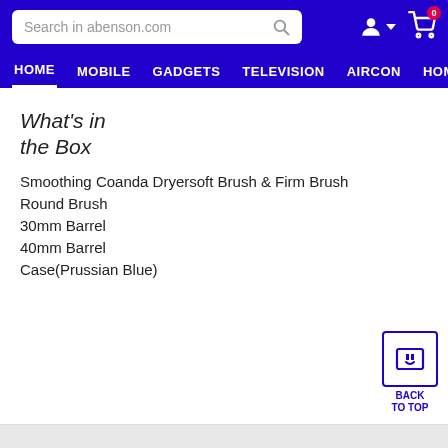Search in abenson.com | HOME | MOBILE | GADGETS | TELEVISION | AIRCON | HOM
What's in the Box
Smoothing Coanda Dryersoft Brush & Firm Brush
Round Brush
30mm Barrel
40mm Barrel
Case(Prussian Blue)
BACK TO TOP
Add to Cart Order Online